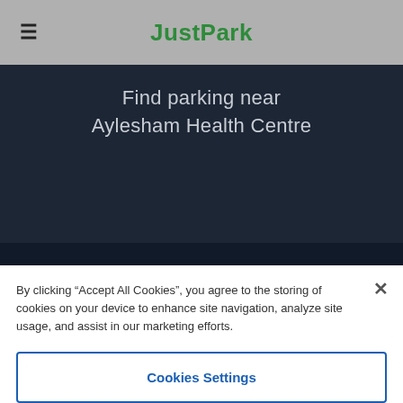JustPark
Find parking near Aylesham Health Centre
HOURLY / DAILY   MONTHLY
By clicking “Accept All Cookies”, you agree to the storing of cookies on your device to enhance site navigation, analyze site usage, and assist in our marketing efforts.
Cookies Settings
Reject All